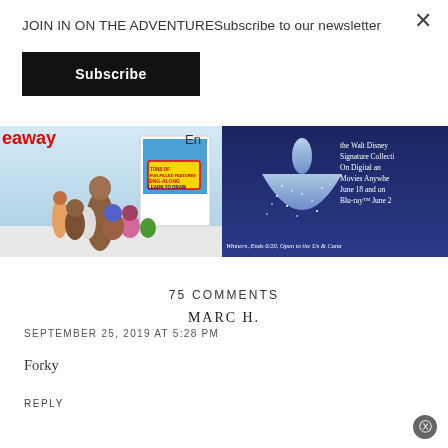JOIN IN ON THE ADVENTURESubscribe to our newsletter
Subscribe
[Figure (photo): Animated characters from a children's movie including monkey, pig, and other animals with DVD/Blu-ray product visible]
[Figure (photo): Cinderella dress made of lights against dark blue background with text about Walt Disney Signature Collection on Digital and Blu-ray]
75 COMMENTS
MARC H.
SEPTEMBER 25, 2019 AT 5:28 PM
Forky
REPLY